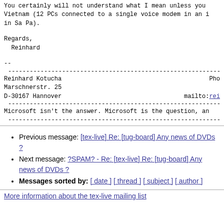You certainly will not understand what I mean unless you Vietnam (12 PCs connected to a single voice modem in an i in Sa Pa).
Regards,
  Reinhard
--
Reinhard Kotucha                                          Pho
Marschnerstr. 25
D-30167 Hannover                                          mailto:rei
Microsoft isn't the answer. Microsoft is the question, an
Previous message: [tex-live] Re: [tug-board] Any news of DVDs ?
Next message: ?SPAM? - Re: [tex-live] Re: [tug-board] Any news of DVDs ?
Messages sorted by: [ date ] [ thread ] [ subject ] [ author ]
More information about the tex-live mailing list